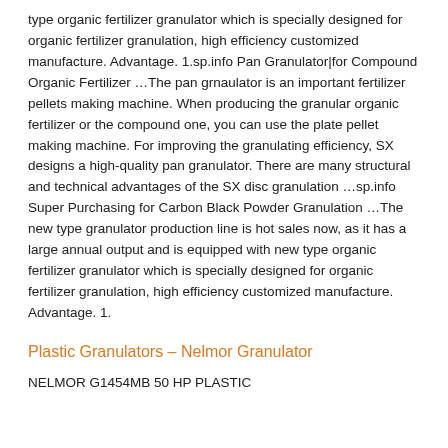type organic fertilizer granulator which is specially designed for organic fertilizer granulation, high efficiency customized manufacture. Advantage. 1.sp.info Pan Granulator|for Compound Organic Fertilizer ...The pan grnaulator is an important fertilizer pellets making machine. When producing the granular organic fertilizer or the compound one, you can use the plate pellet making machine. For improving the granulating efficiency, SX designs a high-quality pan granulator. There are many structural and technical advantages of the SX disc granulation ...sp.info Super Purchasing for Carbon Black Powder Granulation ...The new type granulator production line is hot sales now, as it has a large annual output and is equipped with new type organic fertilizer granulator which is specially designed for organic fertilizer granulation, high efficiency customized manufacture. Advantage. 1.
Plastic Granulators - Nelmor Granulator
NELMOR G1454MB 50 HP PLASTIC